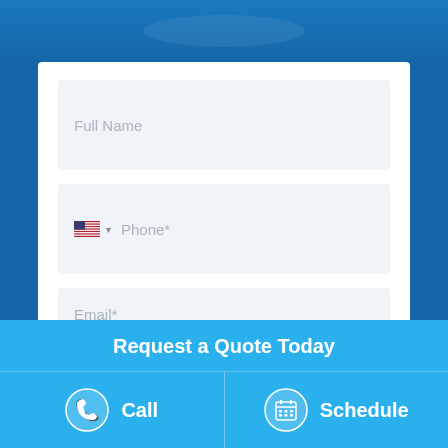[Figure (screenshot): Top banner with blue gradient background, partially visible logo/header]
[Figure (infographic): Web form card with three input fields: Full Name, Phone (with US flag and dropdown), and Email*. A fourth partial field is visible at the bottom.]
Request a Quote Today
Call
Schedule